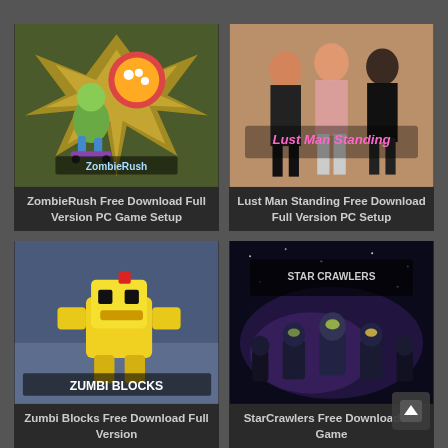[Figure (screenshot): ZombieRush game cover art showing cartoon zombie characters on skateboards with colorful explosion effects]
ZombieRush Free Download Full Version PC Game Setup
[Figure (screenshot): Lust Man Standing game cover showing three women standing with pink neon title text overlay]
Lust Man Standing Free Download Full Version PC Setup
[Figure (screenshot): Zumbi Blocks game cover showing blocky yellow robot character with ZUMBI BLOCKS text]
Zumbi Blocks Free Download Full Version
[Figure (screenshot): StarCrawlers game cover showing armored figures in purple sci-fi environment with STAR CRAWLERS logo]
StarCrawlers Free Download PC Game